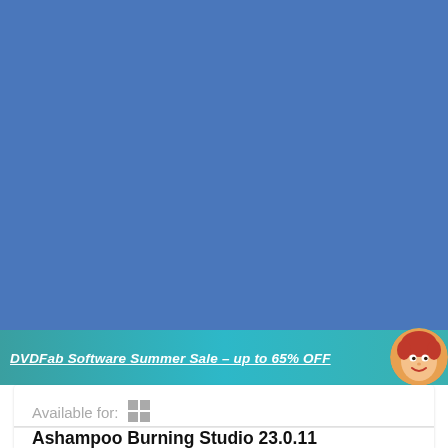[Figure (screenshot): Blue background area representing a Windows desktop or software screenshot]
DVDFab Software Summer Sale – up to 65% OFF
[Figure (illustration): DVDFab mascot circular logo — cartoon character with red hair]
Available for:
[Figure (logo): Windows logo icon (4-pane square)]
Ashampoo Burning Studio 23.0.11